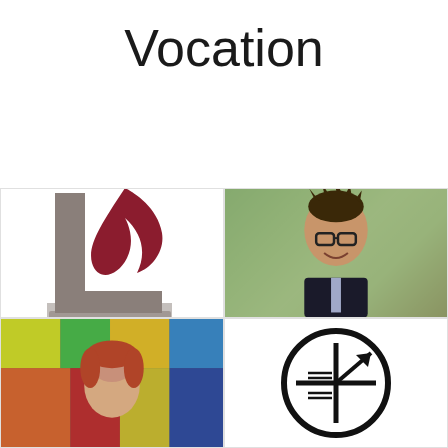Vocation
[Figure (logo): University logo with stylized L and flame shape in gray and dark red/maroon colors]
[Figure (photo): Professional headshot of a young Asian man with spiky hair, glasses, smiling, wearing a dark suit and light purple tie, indoor background with green foliage]
[Figure (photo): Photo of a woman with reddish hair against colorful stained glass window background with yellow, green, and blue colors]
[Figure (logo): Black circular logo/seal with an open book symbol and geometric design elements]